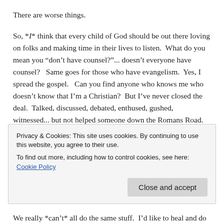There are worse things.
So, *I* think that every child of God should be out there loving on folks and making time in their lives to listen.  What do you mean you “don’t have counsel?”... doesn’t everyone have counsel?   Same goes for those who have evangelism.  Yes, I spread the gospel.   Can you find anyone who knows me who doesn’t know that I’m a Christian?  But I’ve never closed the deal.  Talked, discussed, debated, enthused, gushed, witnessed... but not helped someone down the Romans Road.
Privacy & Cookies: This site uses cookies. By continuing to use this website, you agree to their use.
To find out more, including how to control cookies, see here: Cookie Policy
We really *can’t* all do the same stuff.  I’d like to heal and do